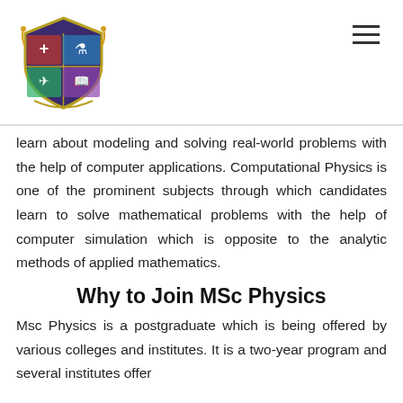[University logo and navigation menu]
learn about modeling and solving real-world problems with the help of computer applications. Computational Physics is one of the prominent subjects through which candidates learn to solve mathematical problems with the help of computer simulation which is opposite to the analytic methods of applied mathematics.
Why to Join MSc Physics
Msc Physics is a postgraduate which is being offered by various colleges and institutes. It is a two-year program and several institutes offer